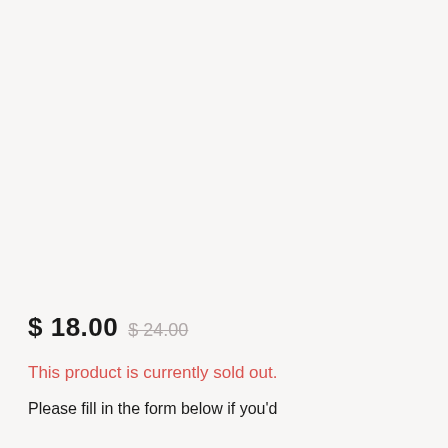$ 18.00  $ 24.00
This product is currently sold out.
Please fill in the form below if you'd